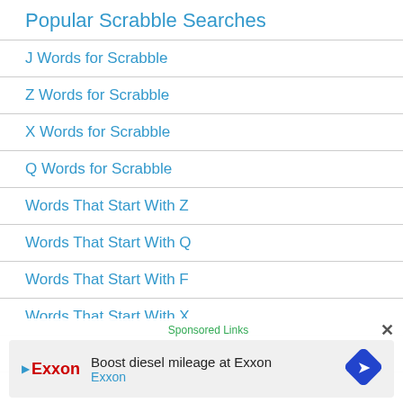Popular Scrabble Searches
J Words for Scrabble
Z Words for Scrabble
X Words for Scrabble
Q Words for Scrabble
Words That Start With Z
Words That Start With Q
Words That Start With F
Words That Start With X
2 Letter Words
3 Lett...
Sponsored Links
Boost diesel mileage at Exxon
Exxon